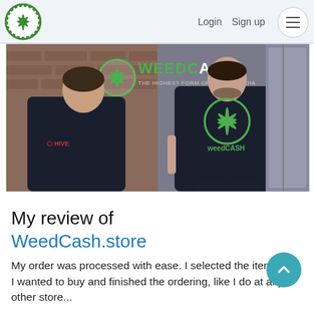Login  Sign up  ☰
[Figure (photo): Two men wearing black WeedCash t-shirts against a brick wall background with WeedCash logo and tagline 'The Highest Form of Social Media' graffiti. One man faces away showing back of shirt with Hive logo; the other faces camera wearing a WeedCash branded t-shirt.]
My review of WeedCash.store
My order was processed with ease. I selected the items that I wanted to buy and finished the ordering, like I do at any other store...